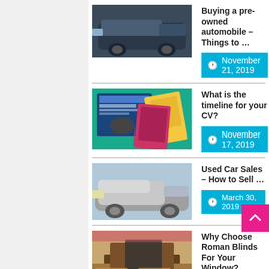[Figure (photo): Dark navy blue car side view thumbnail]
Buying a pre-owned automobile – Things to …
November 21, 2019
[Figure (photo): CV/resume design documents and marketing materials on teal background]
What is the timeline for your CV?
November 17, 2019
[Figure (photo): Silver Mercedes-Benz car side view thumbnail]
Used Car Sales – How to Sell …
March 30, 2019
[Figure (photo): Living room interior with Roman blinds and TV unit]
Why Choose Roman Blinds For Your Window?
January 14, 2019
[Figure (photo): Woman in front of blue transport vehicle/courier scene]
Importance of choosing an international courier